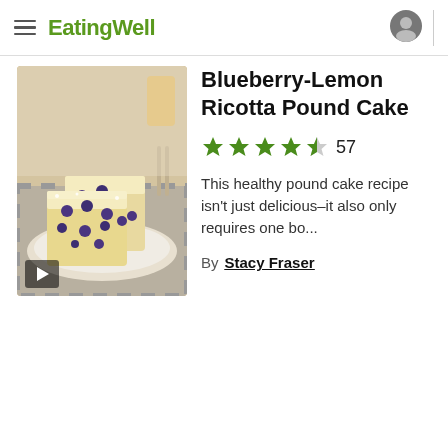EatingWell
[Figure (photo): Slices of blueberry-lemon ricotta pound cake on a plate with a video play button overlay]
Blueberry-Lemon Ricotta Pound Cake
★★★★½ 57
This healthy pound cake recipe isn't just delicious–it also only requires one bo...
By Stacy Fraser